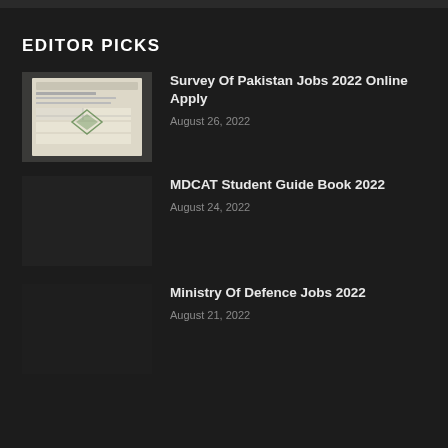EDITOR PICKS
[Figure (photo): Thumbnail image of a document form for Survey of Pakistan Jobs 2022]
Survey Of Pakistan Jobs 2022 Online Apply
August 26, 2022
[Figure (photo): Dark placeholder thumbnail for MDCAT Student Guide Book 2022]
MDCAT Student Guide Book 2022
August 24, 2022
[Figure (photo): Dark placeholder thumbnail for Ministry Of Defence Jobs 2022]
Ministry Of Defence Jobs 2022
August 21, 2022